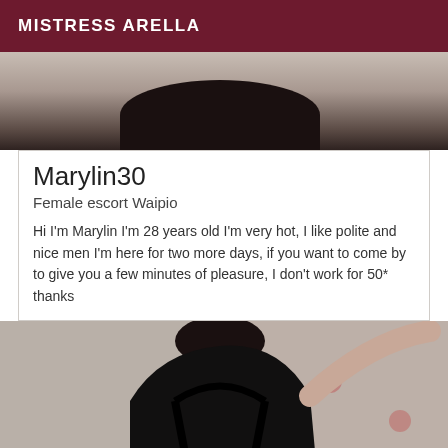MISTRESS ARELLA
[Figure (photo): Top portion of a photo showing a person wearing a black top, cropped at shoulders, against a light background.]
Marylin30
Female escort Waipio
Hi I'm Marylin I'm 28 years old I'm very hot, I like polite and nice men I'm here for two more days, if you want to come by to give you a few minutes of pleasure, I don't work for 50* thanks
[Figure (photo): Photo of a person wearing a black halter-style top, posed against a patterned wallpaper background with floral motifs.]